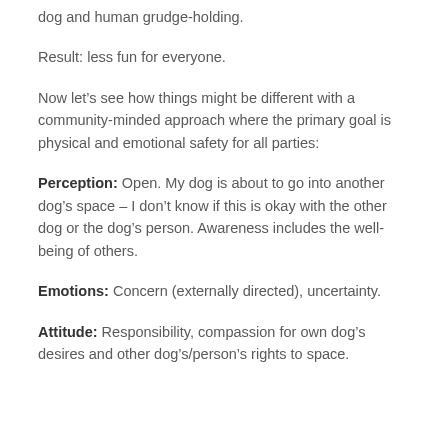dog and human grudge-holding.
Result: less fun for everyone.
Now let’s see how things might be different with a community-minded approach where the primary goal is physical and emotional safety for all parties:
Perception: Open. My dog is about to go into another dog’s space – I don’t know if this is okay with the other dog or the dog’s person. Awareness includes the well-being of others.
Emotions: Concern (externally directed), uncertainty.
Attitude: Responsibility, compassion for own dog’s desires and other dog’s/person’s rights to space.